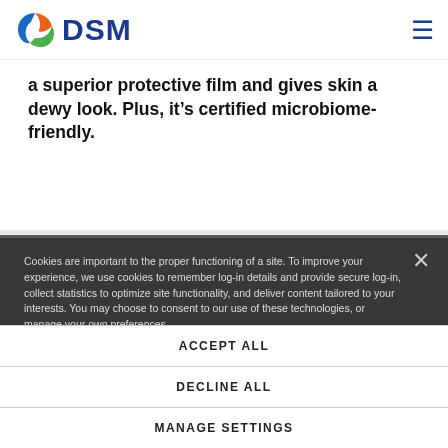DSM logo and navigation header
a superior protective film and gives skin a dewy look. Plus, it's certified microbiome-friendly.
Product Features
INCI NAME: Sodium Hyaluronate
fermentation
of 1.0–1.5 MDa.
Cookies are important to the proper functioning of a site. To improve your experience, we use cookies to remember log-in details and provide secure log-in, collect statistics to optimize site functionality, and deliver content tailored to your interests. You may choose to consent to our use of these technologies, or manage your own preferences.
Privacy
ACCEPT ALL
DECLINE ALL
MANAGE SETTINGS